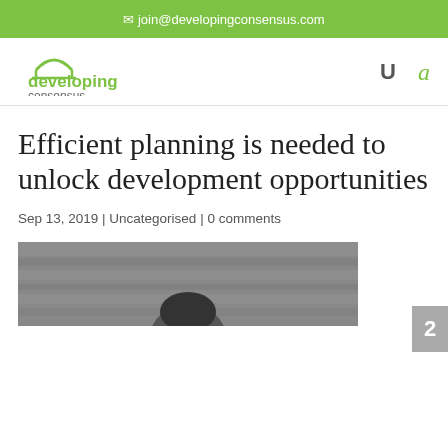✉ join@developingconsensus.com
[Figure (logo): Developing Consensus logo — green text with bridge icon]
Efficient planning is needed to unlock development opportunities
Sep 13, 2019 | Uncategorised | 0 comments
[Figure (photo): Black and white photo of a person, partially visible at bottom of page]